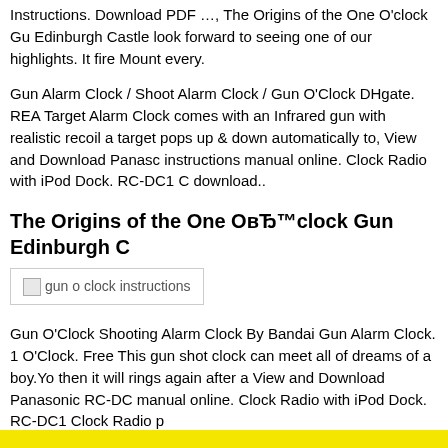Instructions. Download PDF …, The Origins of the One O'clock Gun Edinburgh Castle look forward to seeing one of our highlights. It fires Mount every.
Gun Alarm Clock / Shoot Alarm Clock / Gun O'Clock DHgate. REA Target Alarm Clock comes with an Infrared gun with realistic recoil a target pops up & down automatically to, View and Download Panaso instructions manual online. Clock Radio with iPod Dock. RC-DC1 C download..
The Origins of the One ОвЂ™clock Gun Edinburgh C
[Figure (photo): Broken image placeholder labeled 'gun o clock instructions']
Gun O'Clock Shooting Alarm Clock By Bandai Gun Alarm Clock. 1 O'Clock. Free This gun shot clock can meet all of dreams of a boy.Yo then it will rings again after a View and Download Panasonic RC-DC manual online. Clock Radio with iPod Dock. RC-DC1 Clock Radio p